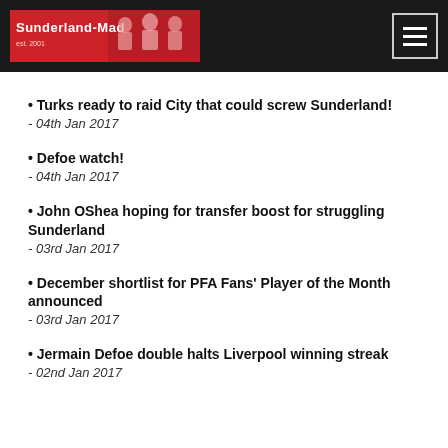Sunderland-Mad
Turks ready to raid City that could screw Sunderland! - 04th Jan 2017
Defoe watch! - 04th Jan 2017
John OShea hoping for transfer boost for struggling Sunderland - 03rd Jan 2017
December shortlist for PFA Fans' Player of the Month announced - 03rd Jan 2017
Jermain Defoe double halts Liverpool winning streak - 02nd Jan 2017